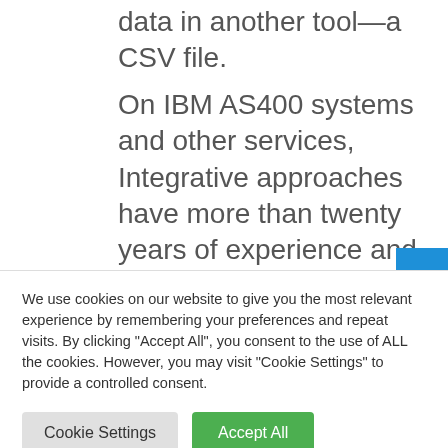data in another tool—a CSV file.
On IBM AS400 systems and other services, Integrative approaches have more than twenty years of experience and is an INC 5000 company in the USA; they have several big names in their fleet. Moreover, the company is a silver business partner of IBM and
We use cookies on our website to give you the most relevant experience by remembering your preferences and repeat visits. By clicking "Accept All", you consent to the use of ALL the cookies. However, you may visit "Cookie Settings" to provide a controlled consent.
Cookie Settings
Accept All